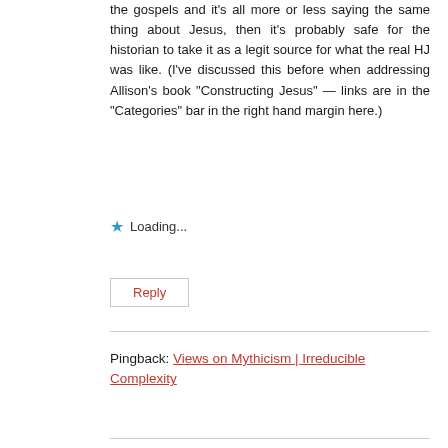the gospels and it’s all more or less saying the same thing about Jesus, then it’s probably safe for the historian to take it as a legit source for what the real HJ was like. (I’ve discussed this before when addressing Allison’s book “Constructing Jesus” — links are in the “Categories” bar in the right hand margin here.)
★ Loading...
Reply
Pingback: Views on Mythicism | Irreducible Complexity